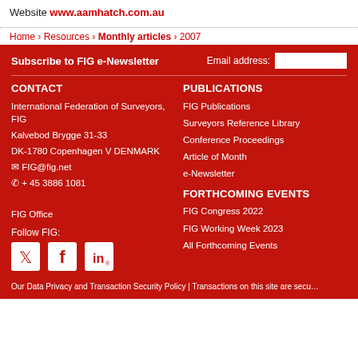Website www.aamhatch.com.au
Home › Resources › Monthly articles › 2007
Subscribe to FIG e-Newsletter  Email address:
CONTACT
International Federation of Surveyors, FIG
Kalvebod Brygge 31-33
DK-1780 Copenhagen V DENMARK
✉ FIG@fig.net
✆ + 45 3886 1081
FIG Office
PUBLICATIONS
FIG Publications
Surveyors Reference Library
Conference Proceedings
Article of Month
e-Newsletter
FORTHCOMING EVENTS
FIG Congress 2022
FIG Working Week 2023
All Forthcoming Events
Follow FIG:
Our Data Privacy and Transaction Security Policy | Transactions on this site are secu…